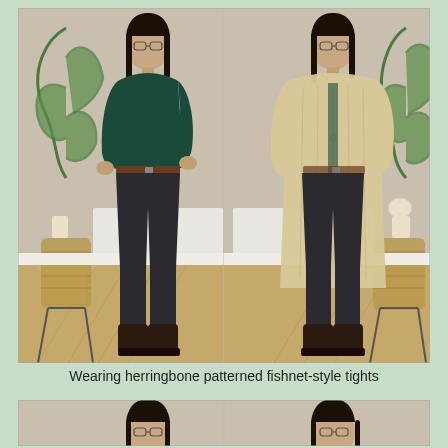[Figure (photo): Two side-by-side full-body photos of the same woman. Left photo: woman wearing a dark teal long-sleeve fitted top, dark black jeans, brown leather belt, and dark ankle boots, standing in front of a beige wall with wicker basket decor and a potted plant. Right photo: same woman with the same outfit but adding a cream/beige textured knit cardigan over the top.]
Wearing herringbone patterned fishnet-style tights
[Figure (photo): Partial view of two side-by-side photos showing the top portion of the same woman's head and upper body, cropped at the bottom of the page.]